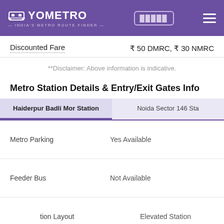YOMETRO — India's Metro Route Finder
| Field | Value |
| --- | --- |
| Discounted Fare | ₹ 50 DMRC, ₹ 30 NMRC |
**Disclaimer: Above information is indicative.
Metro Station Details & Entry/Exit Gates Info
Haiderpur Badli Mor Station | Noida Sector 146 Sta
|  |  |
| --- | --- |
| Metro Parking | Yes Available |
| Feeder Bus | Not Available |
| tion Layout | Elevated Station |
| Platform Type | Side Platform |